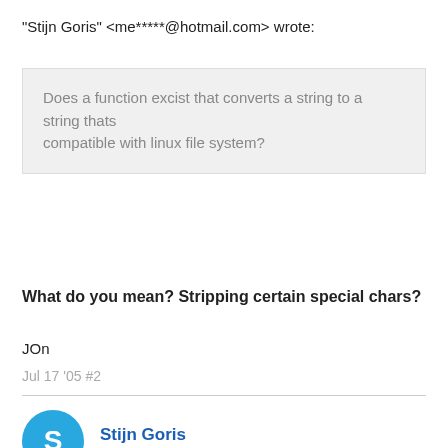"Stijn Goris" <me*****@hotmail.com> wrote:
Does a function excist that converts a string to a string thats compatible with linux file system?
What do you mean? Stripping certain special chars?
JOn
Jul 17 '05 #2
Stijn Goris